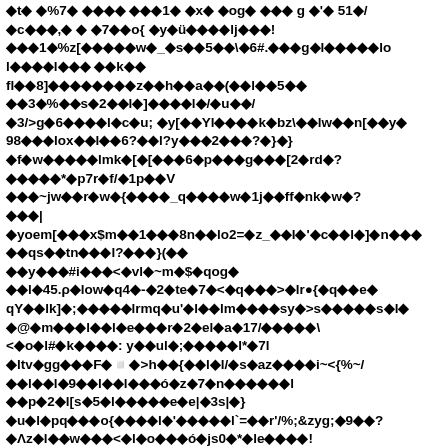t  %7  n    l  x  og    g n'  51 / c   ,  7 o{ y ü    lj µ  ! l %z[  ŵ_  s| 5  \ 6#.   g l    o l      k  fl  8]      z  h  a  ( l  5  l3 % s 2  l ]  l /  u  / 3/>gб    l  c u;  y[  Υl    k bz\  lw  n[  y 98   lox  l  6?  l?y   2   ?  }  } g  w     lmk  [  [   6 p   g   [2  rd  ?     * p7r  f/  1p lV    ~jw  r  w  {    _q    w 1ȷ   ff  nk  w  ?   | yoem[   x$m  l   8n lo2=  z_ l l'  c  l  ]  n     qs   tn   l?   }(     y   #i    <  vl ~m $  qog  l  45.ρ low  q4  -  2  te  7  < lq    >  lr ϑ {  q    e q Υ  lk]  ;      lrmq  u'  l  l m     sу  >s       s l   @  m   l l  e   r  2  e la  17/      \ <  o l #  k    : y  u l  ;      l*  7 l ltv  gg    F  ý  >h    {  l  l/  s  az     i~<{%~/   l  l 9  l  l  ó  z  7  n       l   p  2  l[s  5 l     e  e|  3s|  } u  l  pq   o{     l  '      l  `=   r'/%;   9 l  ?  Λz  l  w    < l  o     ó  js0  *le     !   . . . . . . . . . . . . . . . . . . . . . . . .